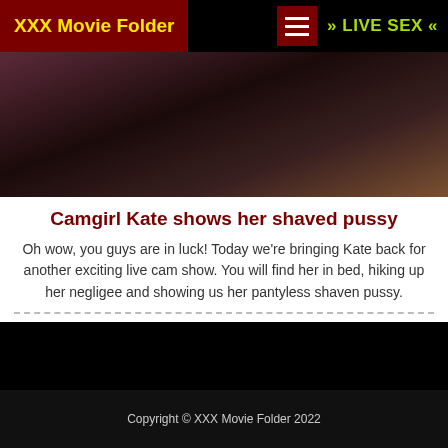XXX Movie Folder  » LIVE SEX «
[Figure (photo): Close-up photo used as article thumbnail image]
Camgirl Kate shows her shaved pussy
Oh wow, you guys are in luck! Today we're bringing Kate back for another exciting live cam show. You will find her in bed, hiking up her negligee and showing us her pantyless shaven pussy.
Copyright © XXX Movie Folder 2022